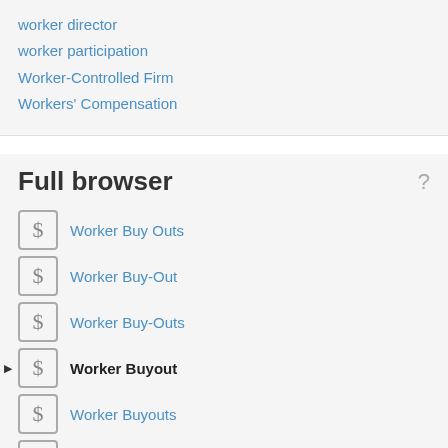worker director
worker participation
Worker-Controlled Firm
Workers' Compensation
Full browser
Worker Buy Outs
Worker Buy-Out
Worker Buy-Outs
Worker Buyout
Worker Buyouts
worker capitalism
Worker Capitalist
Worker Capitalists